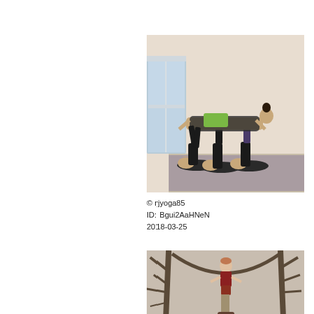[Figure (photo): Group acro-yoga pose indoors: one person balanced horizontally on the raised legs of three people lying on their backs on yoga mats in a white-walled room.]
© rjyoga85
ID: Bgui2AaHNeN
2018-03-25
[Figure (photo): Person in red outfit standing outdoors among bare winter trees, balancing on another person below.]